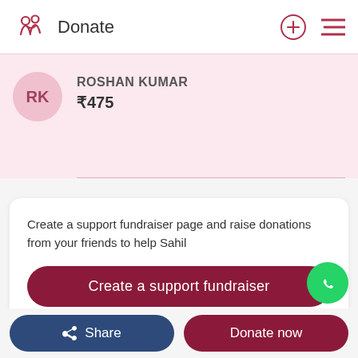Donate
ROSHAN KUMAR
₹475
Create a support fundraiser page and raise donations from your friends to help Sahil
Create a support fundraiser
Know someone in need of funds for a medical
Share
Donate now